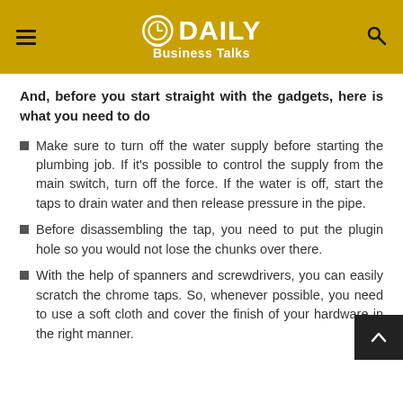DAILY Business Talks
And, before you start straight with the gadgets, here is what you need to do
Make sure to turn off the water supply before starting the plumbing job. If it's possible to control the supply from the main switch, turn off the force. If the water is off, start the taps to drain water and then release pressure in the pipe.
Before disassembling the tap, you need to put the plugin hole so you would not lose the chunks over there.
With the help of spanners and screwdrivers, you can easily scratch the chrome taps. So, whenever possible, you need to use a soft cloth and cover the finish of your hardware in the right manner.